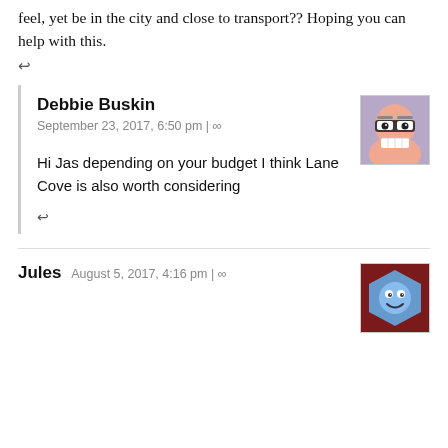feel, yet be in the city and close to transport?? Hoping you can help with this.
↩
Debbie Buskin
September 23, 2017, 6:50 pm | ∞
[Figure (illustration): Avatar of Debbie Buskin: cartoon face with glasses and big grin]
Hi Jas depending on your budget I think Lane Cove is also worth considering
↩
Jules  August 5, 2017, 4:16 pm | ∞
[Figure (illustration): Avatar of Jules: blue cartoon face with a smile on dark red background]